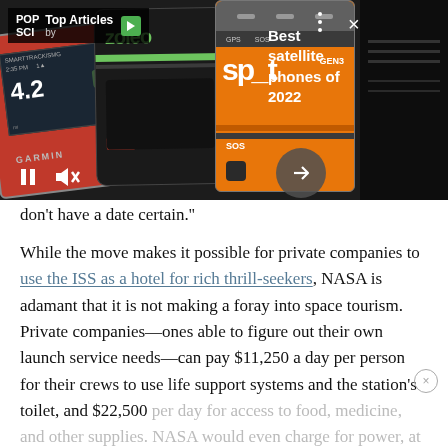[Figure (photo): Pop Sci Top Articles banner showing satellite phone devices: a red Garmin device, black Zoleo device with green logo, orange SPOT Gen3 device, and a dark device on the right. Overlaid with POP SCI Top Articles branding and 'Best satellite phones of 2022' text.]
don’t have a date certain.”
While the move makes it possible for private companies to use the ISS as a hotel for rich thrill-seekers, NASA is adamant that it is not making a foray into space tourism. Private companies—ones able to figure out their own launch service needs—can pay $11,250 a day per person for their crews to use life support systems and the station’s toilet, and $22,500 per day for access to food, medicine, and other supplies. NASA would even charge for power, at a rat